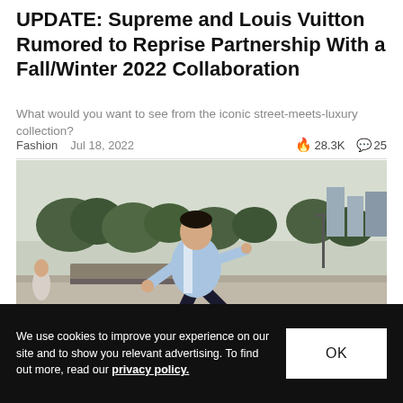UPDATE: Supreme and Louis Vuitton Rumored to Reprise Partnership With a Fall/Winter 2022 Collaboration
What would you want to see from the iconic street-meets-luxury collection?
Fashion   Jul 18, 2022   🔥 28.3K   💬 25
[Figure (photo): A skateboarder mid-trick wearing a blue and white striped jersey and dark pants, performing a jump at an outdoor skate park with trees and city buildings in the background.]
We use cookies to improve your experience on our site and to show you relevant advertising. To find out more, read our privacy policy.